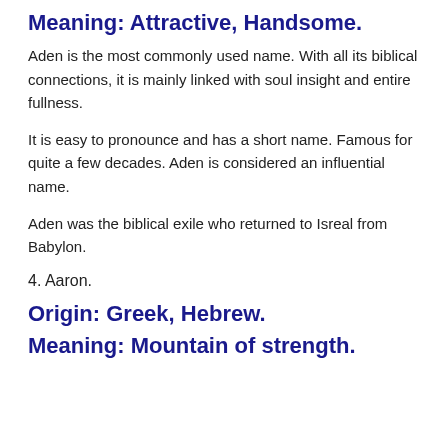Meaning: Attractive, Handsome.
Aden is the most commonly used name. With all its biblical connections, it is mainly linked with soul insight and entire fullness.
It is easy to pronounce and has a short name. Famous for quite a few decades. Aden is considered an influential name.
Aden was the biblical exile who returned to Isreal from Babylon.
4. Aaron.
Origin: Greek, Hebrew.
Meaning: Mountain of strength.